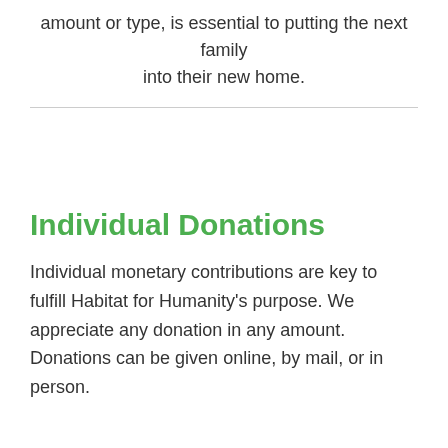amount or type, is essential to putting the next family into their new home.
Individual Donations
Individual monetary contributions are key to fulfill Habitat for Humanity's purpose. We appreciate any donation in any amount. Donations can be given online, by mail, or in person.